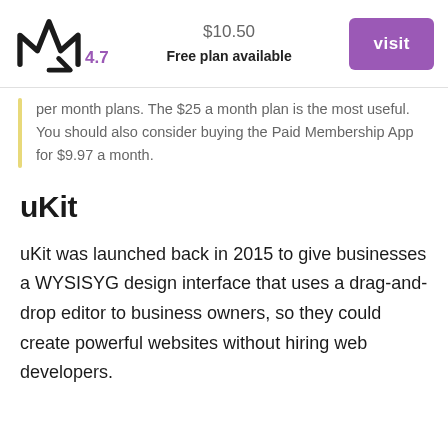[Figure (logo): Abstract crown/arrow logo mark in dark color with rating 4.7 in purple]
$10.50
Free plan available
visit
per month plans. The $25 a month plan is the most useful. You should also consider buying the Paid Membership App for $9.97 a month.
uKit
uKit was launched back in 2015 to give businesses a WYSISYG design interface that uses a drag-and-drop editor to business owners, so they could create powerful websites without hiring web developers.